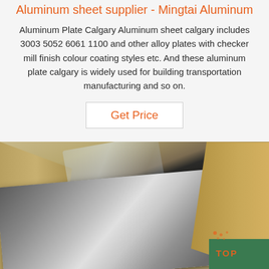Aluminum sheet supplier - Mingtai Aluminum
Aluminum Plate Calgary Aluminum sheet calgary includes 3003 5052 6061 1100 and other alloy plates with checker mill finish colour coating styles etc. And these aluminum plate calgary is widely used for building transportation manufacturing and so on.
Get Price
[Figure (photo): Photo of aluminum sheets packaged with brown kraft paper and clear plastic wrapping, showing reflective metallic surface of aluminum plate. A watermark reading 'TOP' in orange is visible in the lower right corner.]